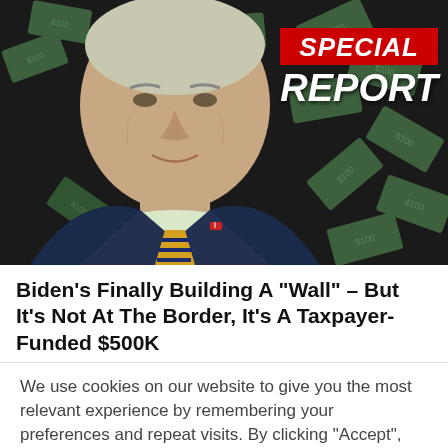[Figure (photo): Hero image showing a man in a dark suit with a striped tie, set against a dark background with scattered US dollar bills. A 'SPECIAL REPORT' badge appears in the upper right corner in red and white.]
Biden's Finally Building A "Wall" – But It's Not At The Border, It's A Taxpayer-Funded $500K
We use cookies on our website to give you the most relevant experience by remembering your preferences and repeat visits. By clicking "Accept", you consent to the use of ALL the cookies.
Cookie Settings
ACCEPT